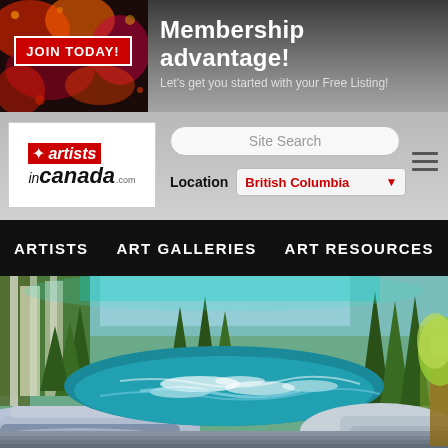[Figure (screenshot): Website header banner with dark gradient background, a JOIN TODAY button on the left over a colorful artistic background, and Membership advantage! text on the right with subtext 'Let's get you started with your Free Listing!']
[Figure (logo): Artists in Canada logo with red maple leaf and red/white text on white background]
Site Search
Location  British Columbia
ARTISTS   ART GALLERIES   ART RESOURCES
[Figure (illustration): Colorful painting of a rocky river with rushing turquoise water, forest of evergreen and birch trees in background, flat layered rock formations in foreground]